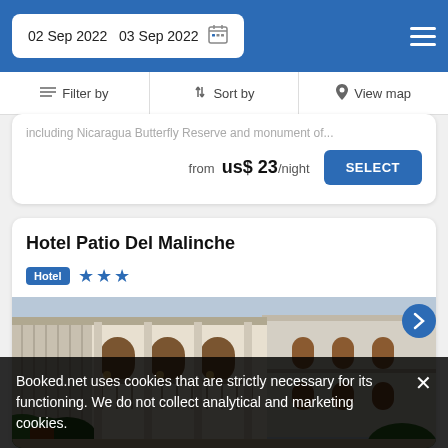02 Sep 2022  03 Sep 2022
Filter by   Sort by   View map
including Nicaragua Butterfly Reserve and monument of...
from  us$ 23/night   SELECT
Hotel Patio Del Malinche
Hotel ★★★
[Figure (photo): Exterior courtyard photo of Hotel Patio Del Malinche showing a multi-story colonial building with balconies, arched windows, warm lighting, and tropical plants]
Booked.net uses cookies that are strictly necessary for its functioning. We do not collect analytical and marketing cookies.